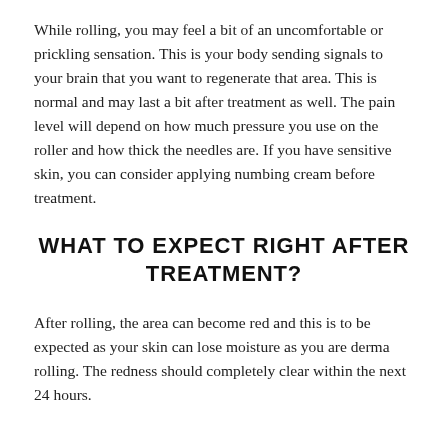While rolling, you may feel a bit of an uncomfortable or prickling sensation. This is your body sending signals to your brain that you want to regenerate that area. This is normal and may last a bit after treatment as well. The pain level will depend on how much pressure you use on the roller and how thick the needles are. If you have sensitive skin, you can consider applying numbing cream before treatment.
WHAT TO EXPECT RIGHT AFTER TREATMENT?
After rolling, the area can become red and this is to be expected as your skin can lose moisture as you are derma rolling. The redness should completely clear within the next 24 hours.